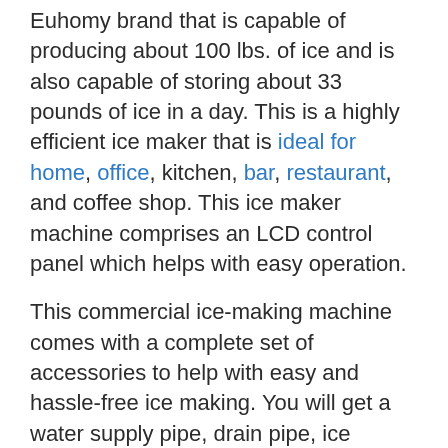Euhomy brand that is capable of producing about 100 lbs. of ice and is also capable of storing about 33 pounds of ice in a day. This is a highly efficient ice maker that is ideal for home, office, kitchen, bar, restaurant, and coffee shop. This ice maker machine comprises an LCD control panel which helps with easy operation.
This commercial ice-making machine comes with a complete set of accessories to help with easy and hassle-free ice making. You will get a water supply pipe, drain pipe, ice shovel, etc. as accessories with this ice maker. Its cabinet has a sliding door that moves up and out of the way.
It also comes with a...